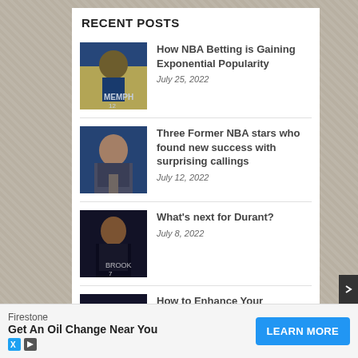RECENT POSTS
How NBA Betting is Gaining Exponential Popularity — July 25, 2022
Three Former NBA stars who found new success with surprising callings — July 12, 2022
What's next for Durant? — July 8, 2022
How to Enhance Your Basketball-Watching
[Figure (infographic): Advertisement banner: Firestone - Get An Oil Change Near You with LEARN MORE button]